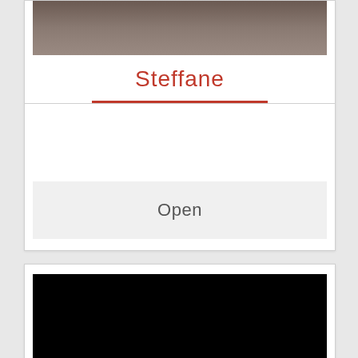[Figure (photo): Top portion of a profile card showing a partially visible photo of a person or animal outdoors]
Steffane
Open
[Figure (photo): Bottom card showing a black photo/video placeholder]